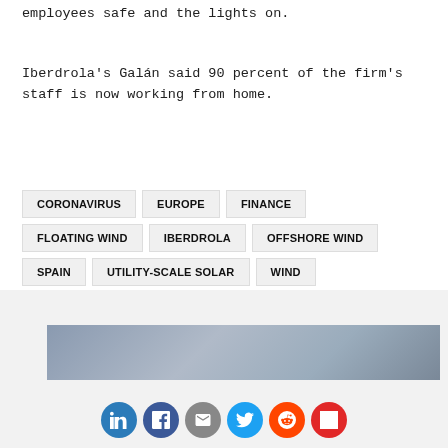employees safe and the lights on.
Iberdrola’s Galán said 90 percent of the firm’s staff is now working from home.
CORONAVIRUS
EUROPE
FINANCE
FLOATING WIND
IBERDROLA
OFFSHORE WIND
SPAIN
UTILITY-SCALE SOLAR
WIND
[Figure (photo): Partial view of a photo strip at the bottom of the page, appears to show a sky or seascape.]